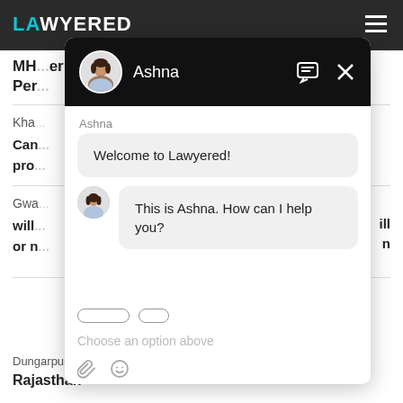[Figure (screenshot): Lawyered website with chat overlay showing Ashna chatbot. Header has LAWYERED logo in teal/white on dark background with hamburger menu. Chat window shows avatar, name Ashna, message icons, two chat bubbles: 'Welcome to Lawyered!' and 'This is Ashna. How can I help you?', option buttons, placeholder text 'Choose an option above', and toolbar icons. Background shows partial legal content text.]
MH...er
Per...
Kha...
Can...
pro...
Gwa...
will...ill
or n...
Dungarpur,  03 Aug, 2021,  (1 year ago)
Rajasthan